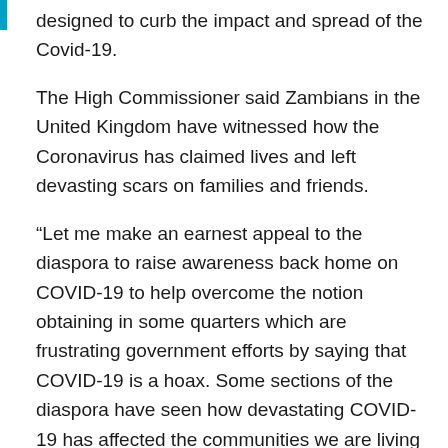designed to curb the impact and spread of the Covid-19.
The High Commissioner said Zambians in the United Kingdom have witnessed how the Coronavirus has claimed lives and left devasting scars on families and friends.
“Let me make an earnest appeal to the diaspora to raise awareness back home on COVID-19 to help overcome the notion obtaining in some quarters which are frustrating government efforts by saying that COVID-19 is a hoax. Some sections of the diaspora have seen how devastating COVID-19 has affected the communities we are living in, who then is better placed than you who are out there to raise awareness so that the efforts that our government is putting in place are adhered to,” he said.
The High Commissioner also said that the UK government has been able to contain the mortality rate because people